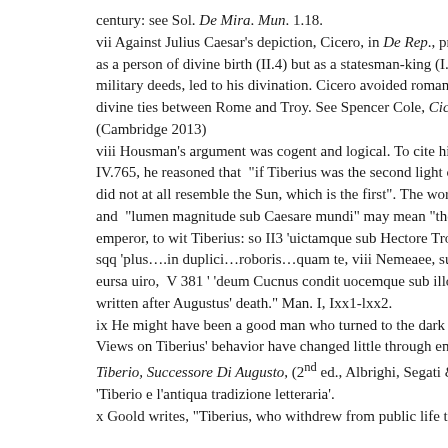century: see Sol. De Mira. Mun. 1.18.
vii Against Julius Caesar's depiction, Cicero, in De Rep., provides Romulus not as a person of divine birth (II.4) but as a statesman-king (I.58), whose military deeds, led to his divination. Cicero avoided romanticizing divine ties between Rome and Troy. See Spencer Cole, Cicero and the Rise of Deification (Cambridge 2013)
viii Housman's argument was cogent and logical. To cite his note on IV.765, he reasoned that "if Tiberius was the second light of heaven, he did not at all resemble the Sun, which is the first". The words and "lumen magnitude sub Caesare mundi" may mean "the Sun under the emperor, to wit Tiberius: so II3 'uictamque sub Hectore Troiam, sqq 'plus....in duplici...roboris...quam te, viii Nemeaee, sub ursa uiro, V 381 ' 'deum Cucnus condit uocemque sub illo.' It was written after Augustus' death." Man. I, Ixx1-lxx2.
ix He might have been a good man who turned to the dark side - Views on Tiberius' behavior have changed little through ensuing Tiberio, Successore Di Augusto, (2nd ed., Albrighi, Segati & C., 'Tiberio e l'antiqua tradizione letteraria'.
x Goold writes, "Tiberius, who withdrew from public life to the